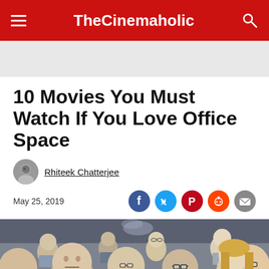TheCinemaholic
10 Movies You Must Watch If You Love Office Space
Rhiteek Chatterjee
May 25, 2019
[Figure (photo): Crowd of office workers in formal attire looking forward, scene from the movie Office Space]